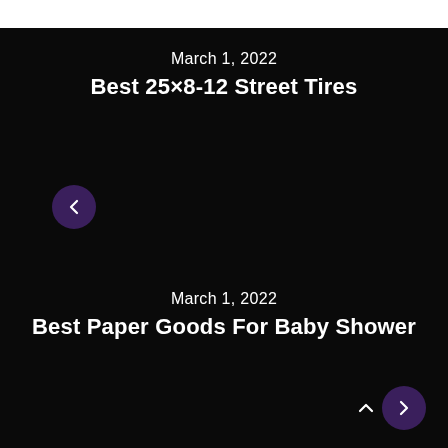March 1, 2022
Best 25×8-12 Street Tires
March 1, 2022
Best Paper Goods For Baby Shower